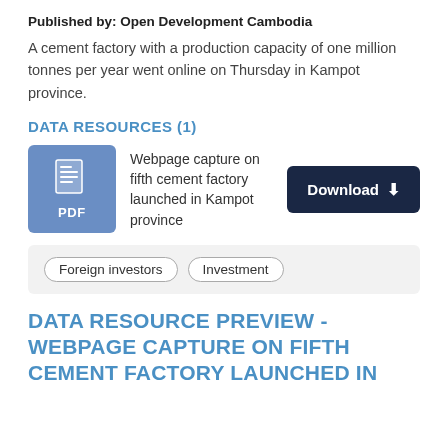Published by: Open Development Cambodia
A cement factory with a production capacity of one million tonnes per year went online on Thursday in Kampot province.
DATA RESOURCES (1)
[Figure (other): PDF file icon in blue box with download button labeled 'Download' and resource description 'Webpage capture on fifth cement factory launched in Kampot province']
Foreign investors  Investment
DATA RESOURCE PREVIEW - WEBPAGE CAPTURE ON FIFTH CEMENT FACTORY LAUNCHED IN